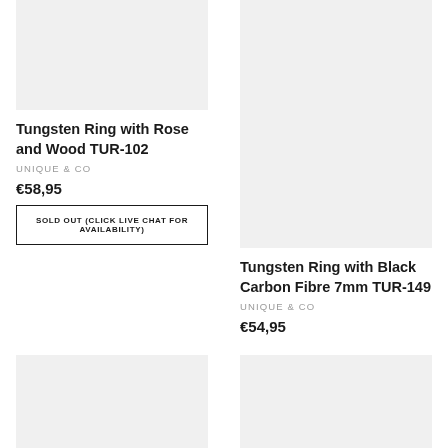[Figure (photo): Product image placeholder for Tungsten Ring with Rose and Wood TUR-102]
Tungsten Ring with Rose and Wood TUR-102
UNIQUE & CO
€58,95
SOLD OUT (CLICK LIVE CHAT FOR AVAILABILITY)
[Figure (photo): Product image placeholder for Tungsten Ring with Black Carbon Fibre 7mm TUR-149]
Tungsten Ring with Black Carbon Fibre 7mm TUR-149
UNIQUE & CO
€54,95
[Figure (photo): Product image placeholder bottom left]
[Figure (photo): Product image placeholder bottom right]